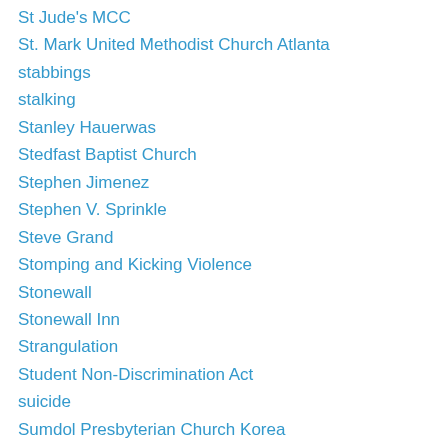St Jude's MCC
St. Mark United Methodist Church Atlanta
stabbings
stalking
Stanley Hauerwas
Stedfast Baptist Church
Stephen Jimenez
Stephen V. Sprinkle
Steve Grand
Stomping and Kicking Violence
Stonewall
Stonewall Inn
Strangulation
Student Non-Discrimination Act
suicide
Sumdol Presbyterian Church Korea
synagogue bombing
Ted Cruz
teen suicide
Tennessee